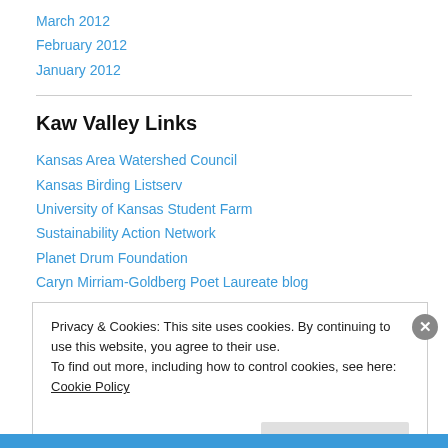March 2012
February 2012
January 2012
Kaw Valley Links
Kansas Area Watershed Council
Kansas Birding Listserv
University of Kansas Student Farm
Sustainability Action Network
Planet Drum Foundation
Caryn Mirriam-Goldberg Poet Laureate blog
Privacy & Cookies: This site uses cookies. By continuing to use this website, you agree to their use.
To find out more, including how to control cookies, see here: Cookie Policy
Close and accept